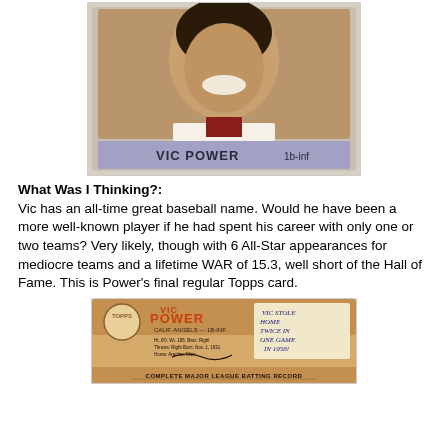[Figure (photo): Vic Power baseball card front showing player portrait smiling, with 'VIC POWER 1b-inf' label at bottom on a purple/lavender band]
What Was I Thinking?:
Vic has an all-time great baseball name. Would he have been a more well-known player if he had spent his career with only one or two teams? Very likely, though with 6 All-Star appearances for mediocre teams and a lifetime WAR of 15.3, well short of the Hall of Fame. This is Power's final regular Topps card.
[Figure (photo): Vic Power baseball card back showing stats and handwritten note 'VIC STOLE HOME TWICE IN ONE GAME IN 1958!']